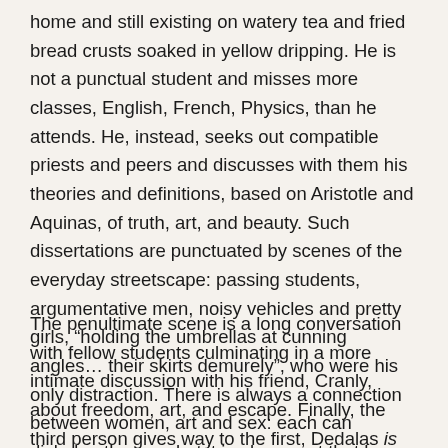home and still existing on watery tea and fried bread crusts soaked in yellow dripping. He is not a punctual student and misses more classes, English, French, Physics, than he attends. He, instead, seeks out compatible priests and peers and discusses with them his theories and definitions, based on Aristotle and Aquinas, of truth, art, and beauty. Such dissertations are punctuated by scenes of the everyday streetscape: passing students, argumentative men, noisy vehicles and pretty girls, “holding the umbrellas at cunning angles… their skirts demurely”, who were his only distraction. There is always a connection between women, art and sex: each can dislodge the over but it is always art that has the strongest power but which is the most hidden but aches to be exposed; he aspires to “the highest and most spiritual art,” literature.
The penultimate scene is a long conversation with fellow students culminating in a more intimate discussion with his friend, Cranly, about freedom, art, and escape. Finally, the third person gives way to the first, Dedalas is Joyce, in the form of diary entries from March